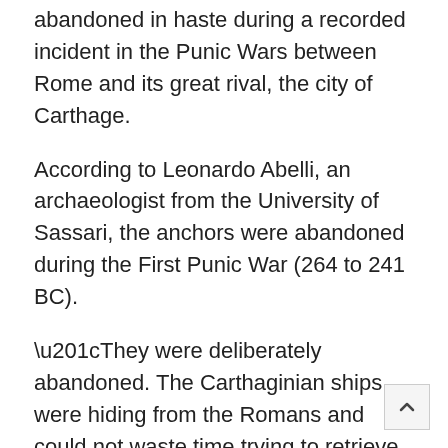abandoned in haste during a recorded incident in the Punic Wars between Rome and its great rival, the city of Carthage.
According to Leonardo Abelli, an archaeologist from the University of Sassari, the anchors were abandoned during the First Punic War (264 to 241 BC).
“They were deliberately abandoned. The Carthaginian ships were hiding from the Romans and could not waste time trying to retrieve heavy anchors at such depths,” Abelli was quoted as saying.
Situated between Africa and Sicily, Pantelleria became a bone of contention between the Romans and Carthaginians during the third century BC. Rome captured the small Mediterranean island in the First Punic War i…